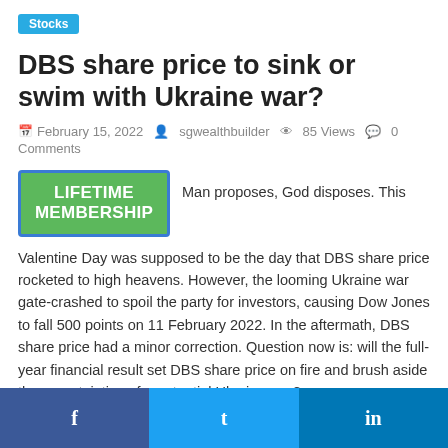Stocks
DBS share price to sink or swim with Ukraine war?
February 15, 2022  sgwealthbuilder  85 Views  0 Comments
[Figure (other): Green 'LIFETIME MEMBERSHIP' button with blue border, followed by inline text: 'Man proposes, God disposes. This']
Valentine Day was supposed to be the day that DBS share price rocketed to high heavens. However, the looming Ukraine war gate-crashed to spoil the party for investors, causing Dow Jones to fall 500 points on 11 February 2022. In the aftermath, DBS share price had a minor correction. Question now is: will the full-year financial result set DBS share price on fire and brush aside the uncertainties of a potential Ukraine war?
Russia could be launching an attack on Ukraine, possibly on
f  t  in